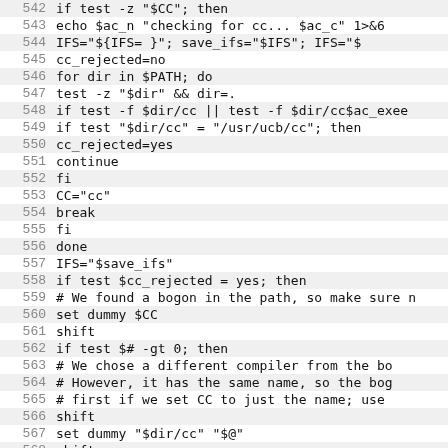[Figure (screenshot): Source code listing with line numbers 542-573, showing shell script code for checking and setting the CC compiler variable.]